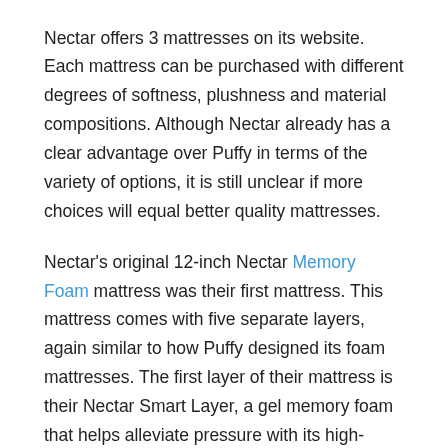Nectar offers 3 mattresses on its website. Each mattress can be purchased with different degrees of softness, plushness and material compositions. Although Nectar already has a clear advantage over Puffy in terms of the variety of options, it is still unclear if more choices will equal better quality mattresses.
Nectar's original 12-inch Nectar Memory Foam mattress was their first mattress. This mattress comes with five separate layers, again similar to how Puffy designed its foam mattresses. The first layer of their mattress is their Nectar Smart Layer, a gel memory foam that helps alleviate pressure with its high-density construction.
The Nectar Smart Layer is then supported by two more foams, the Nectar Dynamic Support Layer and their Stay-Stable Support Layer. Both assist in stabilizing your body while you sleep, minimizing any motion transfer, and keeping the mattress in place on the bed base. This is all wrapped in Nectar's quilted Cool Cover that regulates temperature and Nectar's shift-resistant lower covering, which provides stability by securing the mattress to the